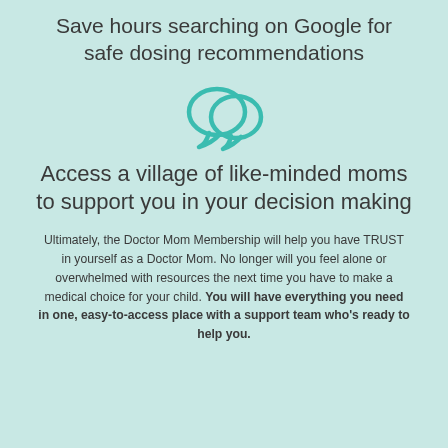Save hours searching on Google for safe dosing recommendations
[Figure (illustration): Two overlapping speech bubble chat icons in teal/turquoise color]
Access a village of like-minded moms to support you in your decision making
Ultimately, the Doctor Mom Membership will help you have TRUST in yourself as a Doctor Mom. No longer will you feel alone or overwhelmed with resources the next time you have to make a medical choice for your child. You will have everything you need in one, easy-to-access place with a support team who's ready to help you.